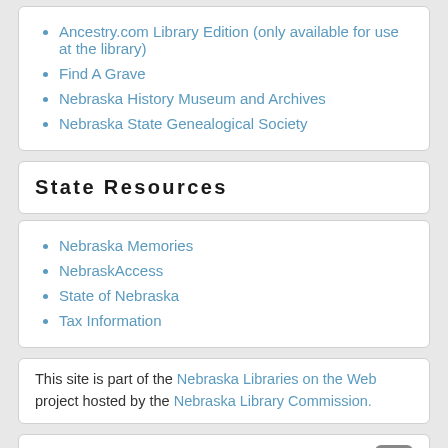Ancestry.com Library Edition (only available for use at the library)
Find A Grave
Nebraska History Museum and Archives
Nebraska State Genealogical Society
State Resources
Nebraska Memories
NebraskAccess
State of Nebraska
Tax Information
This site is part of the Nebraska Libraries on the Web project hosted by the Nebraska Library Commission.
Calendar